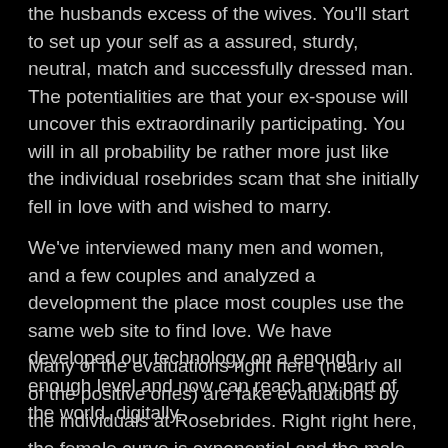the husbands excess of the wives. You'll start to set up your self as a assured, sturdy, neutral, match and successfully dressed man. The potentialities are that your ex-spouse will uncover this extraordinarily participating. You will in all probability be rather more just like the individual rosebrides scam that she initially fell in love with and wished to marry.
We've interviewed many men and women, and a few couples and analyzed a development the place most couples use the same web site to find love. We have developed our technology on a enough enough level and now can reach any part of the world, digitally.
Many of the evaluations right here (nearly all of the positive ones) are fake evaluations by the individuals at Rosebrides. Right right here, the female curve is exponential and the male is linear. Moreover, they hold whether or not or not the